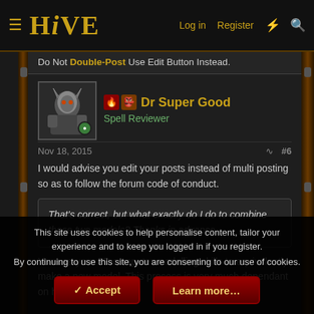HIVE — Log in | Register
Do Not Double-Post Use Edit Button Instead.
Dr Super Good
Spell Reviewer
Nov 18, 2015   #6
I would advise you edit your posts instead of multi posting so as to follow the forum code of conduct.
That's correct, but what exactly do I do to combine those two models? Thanks in advance.
You use your 3D computer modelling skills to equivalently make a new model. This process is very much dependant on how artistic you
This site uses cookies to help personalise content, tailor your experience and to keep you logged in if you register.
By continuing to use this site, you are consenting to our use of cookies.
✓ Accept   Learn more…